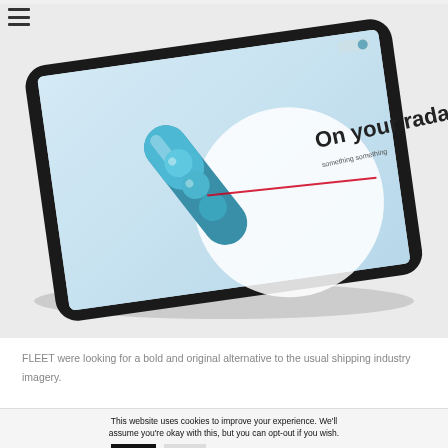[Figure (photo): A tablet device displayed at an angle showing a publication or website cover with the text 'On your radar' and a decorative blue/teal pill-shaped object on a light background. The tablet has a dark/black bezel.]
FLEET were looking for a bold and original alternative to the usual shipping industry imagery.
This website uses cookies to improve your experience. We'll assume you're okay with this, but you can opt-out if you wish.